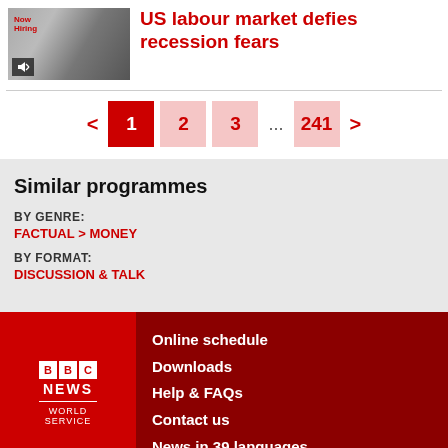[Figure (photo): Thumbnail image showing a 'Now Hiring' sign with a speaker/audio icon overlay]
US labour market defies recession fears
< 1 2 3 ... 241 >
Similar programmes
BY GENRE:
FACTUAL > MONEY
BY FORMAT:
DISCUSSION & TALK
[Figure (logo): BBC News World Service logo in white on red background]
Online schedule
Downloads
Help & FAQs
Contact us
News in 39 languages